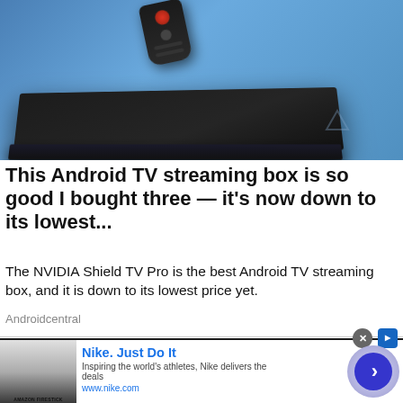[Figure (photo): NVIDIA Shield TV Pro streaming box and remote control on a blue surface. The device is a flat black rectangular box with a small NVIDIA logo, and a black remote control rests on top.]
This Android TV streaming box is so good I bought three — it's now down to its lowest...
The NVIDIA Shield TV Pro is the best Android TV streaming box, and it is down to its lowest price yet.
Androidcentral
[Figure (screenshot): Advertisement banner for Nike. Just Do It. Shows Nike website thumbnail, text 'Inspiring the world's athletes, Nike delivers the deals', URL www.nike.com, and a purple/blue circular arrow button on the right.]